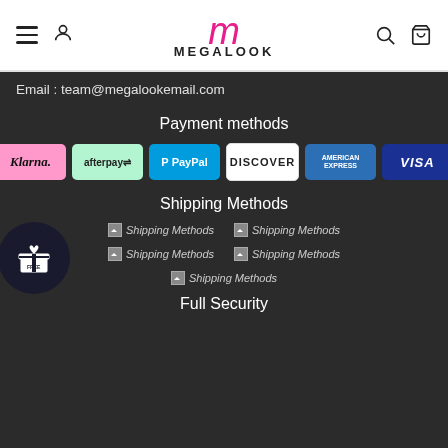[Figure (logo): Megalook brand logo with cursive M in pink and MEGALOOK text, navigation icons for hamburger menu, user, search, and cart]
Email : team@megalookemail.com
Payment methods
[Figure (infographic): Payment method logos: Klarna, afterpay, PayPal, DISCOVER, American Express, VISA]
Shipping Methods
[Figure (infographic): Shipping method logo images (broken image placeholders): 5 shipping method images arranged in 2x2 grid plus 1 centered]
Full Security